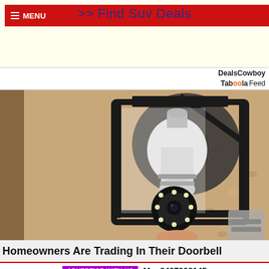>> Find Suv Deals
DealsCowboy
Taboola Feed
[Figure (photo): A security camera shaped like a light bulb installed inside an outdoor wall lantern fixture mounted on a textured stucco wall.]
Homeowners Are Trading In Their Doorbell
ADVERTISE WITH US   Mo. 8407908145